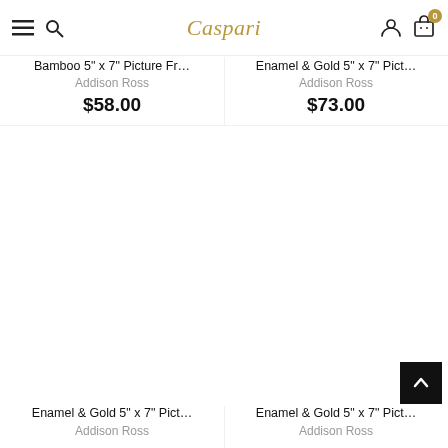Caspari — navigation bar with hamburger menu, search, logo, account, cart (0)
Bamboo 5" x 7" Picture Fr…
Addison Ross
$58.00
Enamel & Gold 5" x 7" Pict…
Addison Ross
$73.00
Enamel & Gold 5" x 7" Pict…
Addison Ross
Enamel & Gold 5" x 7" Pict…
Addison Ross